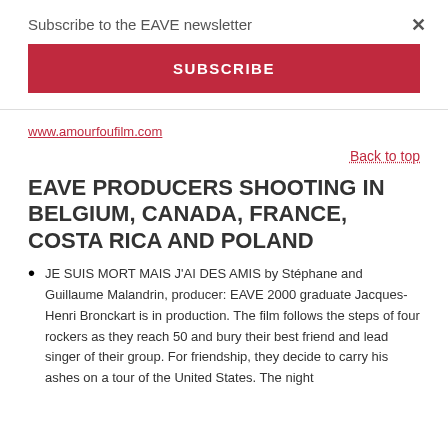Subscribe to the EAVE newsletter
SUBSCRIBE
www.amourfoufilm.com
Back to top
EAVE PRODUCERS SHOOTING IN BELGIUM, CANADA, FRANCE, COSTA RICA AND POLAND
JE SUIS MORT MAIS J'AI DES AMIS by Stéphane and Guillaume Malandrin, producer: EAVE 2000 graduate Jacques-Henri Bronckart is in production. The film follows the steps of four rockers as they reach 50 and bury their best friend and lead singer of their group. For friendship, they decide to carry his ashes on a tour of the United States. The night